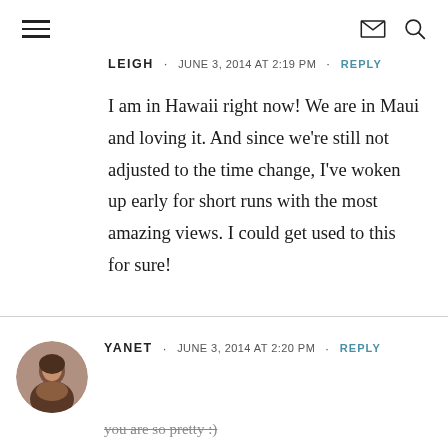Navigation header with hamburger menu, envelope icon, and search icon
LEIGH · JUNE 3, 2014 AT 2:19 PM · REPLY
I am in Hawaii right now! We are in Maui and loving it. And since we're still not adjusted to the time change, I've woken up early for short runs with the most amazing views. I could get used to this for sure!
YANET · JUNE 3, 2014 AT 2:20 PM · REPLY
you are so pretty :)
I really need to get down rolling more, thanks this is